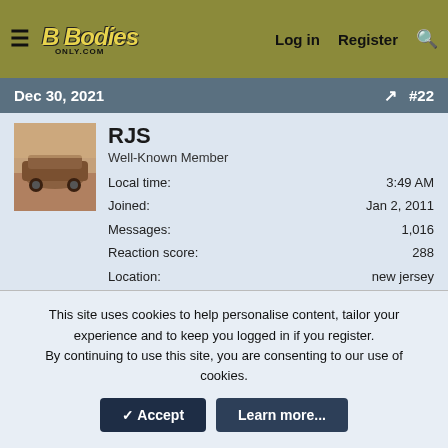FBB B Bodies Only | Log in | Register | Search
Dec 30, 2021 #22
RJS
Well-Known Member
Local time: 3:49 AM
Joined: Jan 2, 2011
Messages: 1,016
Reaction score: 288
Location: new jersey
Piranhaz said: ↑
Thanks all. Got my wheels and tires ordered yesterday.
This site uses cookies to help personalise content, tailor your experience and to keep you logged in if you register.
By continuing to use this site, you are consenting to our use of cookies.
Accept | Learn more...